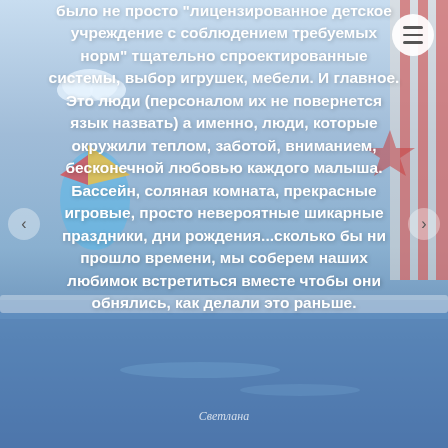[Figure (photo): Background photo of a children's swimming pool facility with blue mosaic tiles, decorative wall murals featuring sailboats, clouds, and a lighthouse. The image is overlaid with semi-transparent white text in Russian.]
было не просто “лицензированное детское учреждение с соблюдением требуемых норм” тщательно спроектированные системы, выбор игрушек, мебели. И главное. Это люди (персоналом их не повернется язык назвать) а именно, люди, которые окружили теплом, заботой, вниманием, бесконечной любовью каждого малыша. Бассейн, соляная комната, прекрасные игровые, просто невероятные шикарные праздники, дни рождения...сколько бы ни прошло времени, мы соберем наших любимок встретиться вместе чтобы они обнялись, как делали это раньше.
Светлана